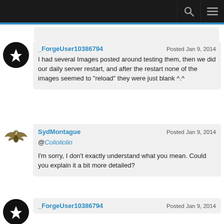Navigation bar with search and menu icons
_ForgeUser10386794 · Posted Jan 9, 2014 · I had several Images posted around testing them, then we did our daily server restart, and after the restart none of the images seemed to "reload" they were just blank ^.^
SydMontague · Posted Jan 9, 2014 · @Colioliolio · I'm sorry, I don't exactly understand what you mean. Could you explain it a bit more detailed?
_ForgeUser10386794 · Posted Jan 9, 2014